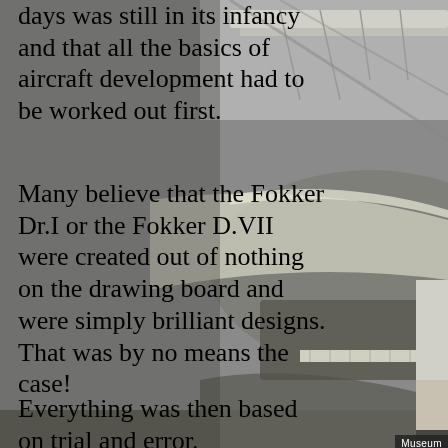[Figure (photo): Black and white photograph of vintage aircraft in a museum hangar, showing biplane wings and structural details from below.]
days was still in its infancy and that all the basics of aircraft development had to be worked out first.
Many believe that the Fokker Dr.I or the Fokker D.VII were created out of nothing on the drawing board and were simply brilliant designs. That was by no means the case!
Everything was then based on trial and error.
Station 6 illustrates the development work of the aircraft manufacturers at the time using the example of Fokker with all 60 prototypes that Fokker constructed, built, and designed between 1910 and 1918.